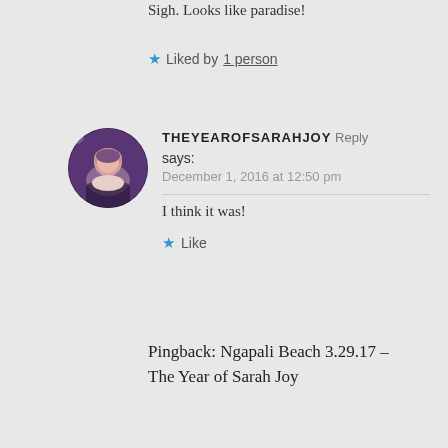Sigh. Looks like paradise!
★ Liked by 1 person
THEYEAROFSARAHJOY Reply says: December 1, 2016 at 12:50 pm
I think it was!
★ Like
Pingback: Ngapali Beach 3.29.17 – The Year of Sarah Joy